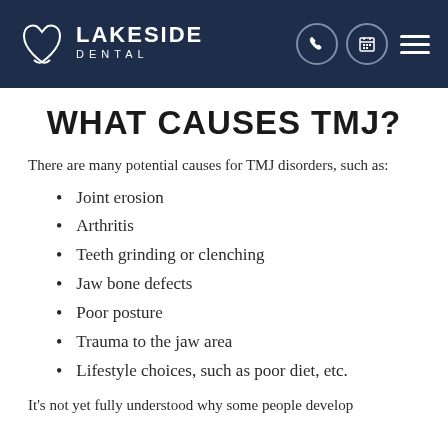Lakeside Dental
WHAT CAUSES TMJ?
There are many potential causes for TMJ disorders, such as:
Joint erosion
Arthritis
Teeth grinding or clenching
Jaw bone defects
Poor posture
Trauma to the jaw area
Lifestyle choices, such as poor diet, etc.
It's not yet fully understood why some people develop